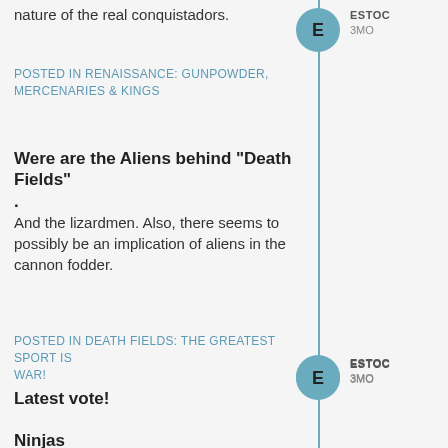nature of the real conquistadors.
POSTED IN RENAISSANCE: GUNPOWDER, MERCENARIES & KINGS
Were are the Aliens behind "Death Fields"
.
And the lizardmen. Also, there seems to possibly be an implication of aliens in the cannon fodder.
POSTED IN DEATH FIELDS: THE GREATEST SPORT IS WAR!
Latest vote!
It let you vote for multiple in each category. I voted for "Ooh Rah" since I had no clue what it was and it was the only new one, But otherwise voted the same as charles.
POSTED IN GENERAL CHATTER
Ninjas